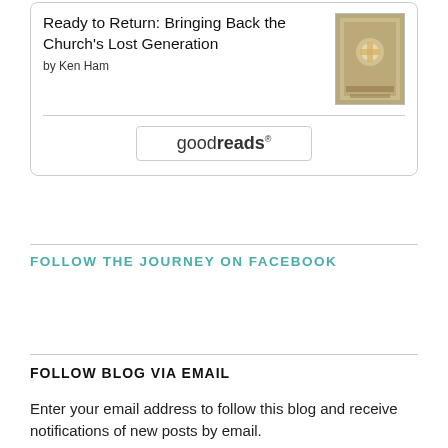[Figure (other): Goodreads widget card showing book 'Ready to Return: Bringing Back the Church's Lost Generation' by Ken Ham, with book cover thumbnail and Goodreads button]
FOLLOW THE JOURNEY ON FACEBOOK
FOLLOW BLOG VIA EMAIL
Enter your email address to follow this blog and receive notifications of new posts by email.